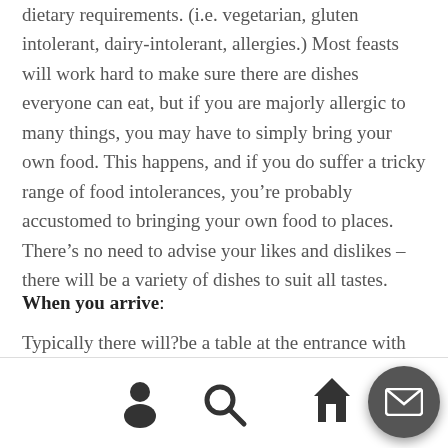dietary requirements. (i.e. vegetarian, gluten intolerant, dairy-intolerant, allergies.) Most feasts will work hard to make sure there are dishes everyone can eat, but if you are majorly allergic to many things, you may have to simply bring your own food. This happens, and if you do suffer a tricky range of food intolerances, you're probably accustomed to bringing your own food to places. There's no need to advise your likes and dislikes – there will be a variety of dishes to suit all tastes.
When you arrive:
Typically there will?be a table at the entrance with someone with someone to greet you (sometimes colloquially, 'the troll').?You will need to sign any releases?
[Figure (other): Bottom navigation bar with person/account icon, search icon, and a circular dark gray mail/envelope FAB button in the bottom right corner.]